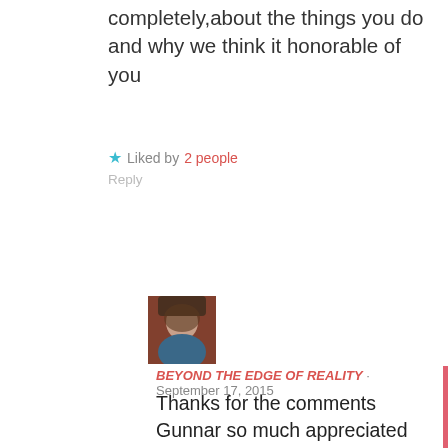completely,about the things you do and why we think it honorable of you
★ Liked by 2 people
Reply
[Figure (photo): User avatar photo showing a person]
BEYOND THE EDGE OF REALITY · September 17, 2015
Thanks for the comments Gunnar so much appreciated indeed.
★ Liked by 1 person
Reply
[Figure (photo): User avatar photo showing a person]